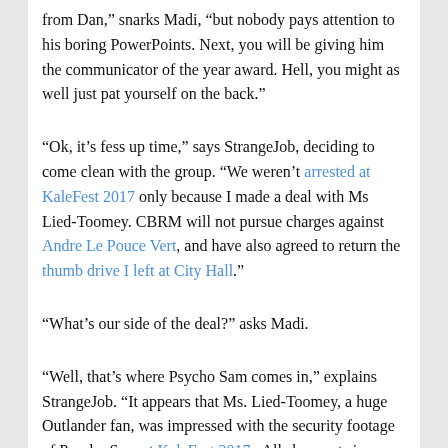from Dan,” snarks Madi, “but nobody pays attention to his boring PowerPoints. Next, you will be giving him the communicator of the year award. Hell, you might as well just pat yourself on the back.”
“Ok, it’s fess up time,” says StrangeJob, deciding to come clean with the group. “We weren’t arrested at KaleFest 2017 only because I made a deal with Ms Lied-Toomey. CBRM will not pursue charges against Andre Le Pouce Vert, and have also agreed to return the thumb drive I left at City Hall.”
“What’s our side of the deal?” asks Madi.
“Well, that’s where Psycho Sam comes in,” explains StrangeJob. “It appears that Ms. Lied-Toomey, a huge Outlander fan, was impressed with the security footage of Psycho Sam at KaleFest 2017.  All she wants in return is a date with Sam.”
“I don’t do dates!” exclaims Psycho Sam.